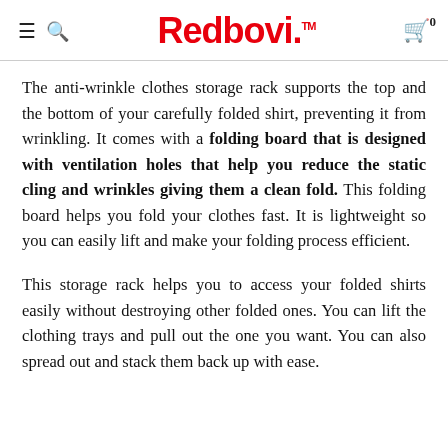Redbovi.
The anti-wrinkle clothes storage rack supports the top and the bottom of your carefully folded shirt, preventing it from wrinkling. It comes with a folding board that is designed with ventilation holes that help you reduce the static cling and wrinkles giving them a clean fold. This folding board helps you fold your clothes fast. It is lightweight so you can easily lift and make your folding process efficient.
This storage rack helps you to access your folded shirts easily without destroying other folded ones. You can lift the clothing trays and pull out the one you want. You can also spread out and stack them back up with ease.